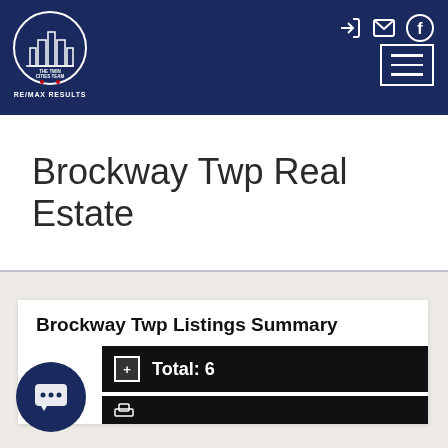[Figure (logo): RE/MAX Results The Twin Cities Team logo — circular white outline logo with city skyline illustration, text 'THE TWIN CITIES TEAM' and 'RE/MAX RESULTS' below]
Brockway Twp Real Estate
Brockway Twp Listings Summary
Total: 6